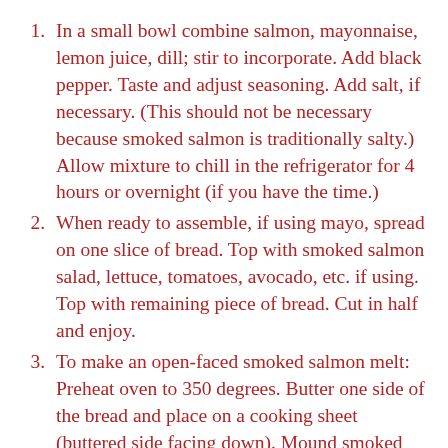In a small bowl combine salmon, mayonnaise, lemon juice, dill; stir to incorporate. Add black pepper. Taste and adjust seasoning. Add salt, if necessary. (This should not be necessary because smoked salmon is traditionally salty.) Allow mixture to chill in the refrigerator for 4 hours or overnight (if you have the time.)
When ready to assemble, if using mayo, spread on one slice of bread. Top with smoked salmon salad, lettuce, tomatoes, avocado, etc. if using. Top with remaining piece of bread. Cut in half and enjoy.
To make an open-faced smoked salmon melt: Preheat oven to 350 degrees. Butter one side of the bread and place on a cooking sheet (buttered side facing down). Mound smoked